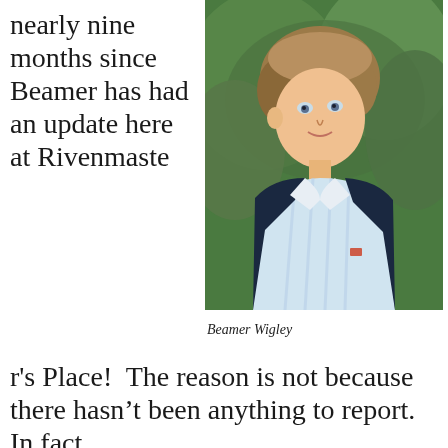nearly nine months since Beamer has had an update here at Rivenmaster’s Place!  The reason is not because there hasn’t been anything to report.  In fact,
[Figure (photo): Portrait photo of a young boy with brown hair wearing a suit jacket and light blue striped shirt, smiling slightly, with green foliage in background. Caption: Beamer Wigley]
Beamer Wigley